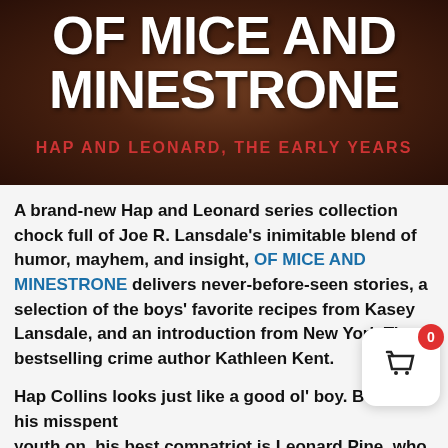[Figure (illustration): Book cover for 'Of Mice and Minestrone: Hap and Leonard, The Early Years' — dark brown earthy background with large white bold uppercase title text and red subtitle text]
A brand-new Hap and Leonard series collection chock full of Joe R. Lansdale's inimitable blend of humor, mayhem, and insight, OF MICE AND MINESTRONE delivers never-before-seen stories, a selection of the boys' favorite recipes from Kasey Lansdale, and an introduction from New York Times bestselling crime author Kathleen Kent.
Hap Collins looks just like a good ol' boy. But from his misspent youth on, his best compatriot is Leonard Pine, who is black, gay, and